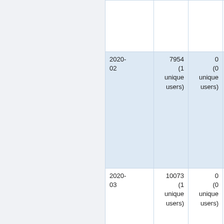| Period | Col2 | Col3 | Col4 |
| --- | --- | --- | --- |
|  |  |  |  |
| 2020-02 | 7954
(1 unique users) | 0
(0 unique users) | (unique users) |
| 2020-03 | 10073
(1 unique users) | 0
(0 unique users) | (unique users) |
|  |  |  |  |